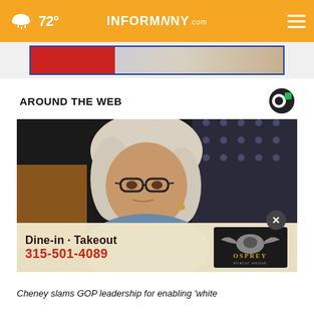72° INFORMNNY.com
[Figure (screenshot): Ad banner with blue and red blocks]
AROUND THE WEB
[Figure (photo): Woman with glasses and blonde hair seated at a hearing, looking serious]
[Figure (infographic): Osprey Public House ad overlay - Dine-in · Takeout, 315-501-4089]
Cheney slams GOP leadership for enabling 'white